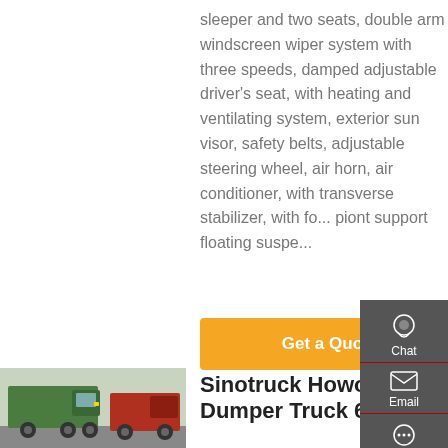sleeper and two seats, double arm windscreen wiper system with three speeds, damped adjustable driver's seat, with heating and ventilating system, exterior sun visor, safety belts, adjustable steering wheel, air horn, air conditioner, with transverse stabilizer, with four piont support floating suspension
Get a Quote
[Figure (photo): Sinotruck Howo dumper truck, green and red trucks parked in a yard]
Sinotruck Howo Dumper Truck 6x4